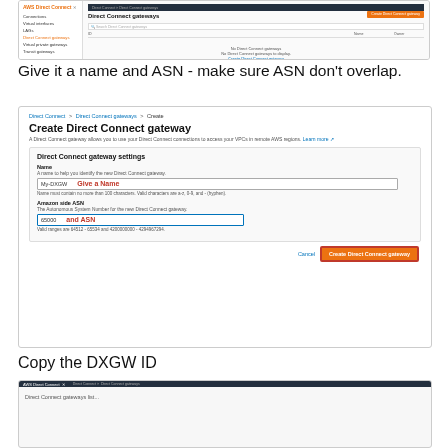[Figure (screenshot): AWS Direct Connect gateways list page screenshot showing empty state with 'Create Direct Connect gateway' button]
Give it a name and ASN - make sure ASN don't overlap.
[Figure (screenshot): Create Direct Connect gateway form with Name field showing 'My-DXGW' and annotation 'Give a Name', Amazon side ASN field showing '65000' and annotation 'and ASN', and Create Direct Connect gateway button highlighted with red border]
Copy the DXGW ID
[Figure (screenshot): AWS Direct Connect Direct Connect gateways page partial screenshot showing top navigation bar]